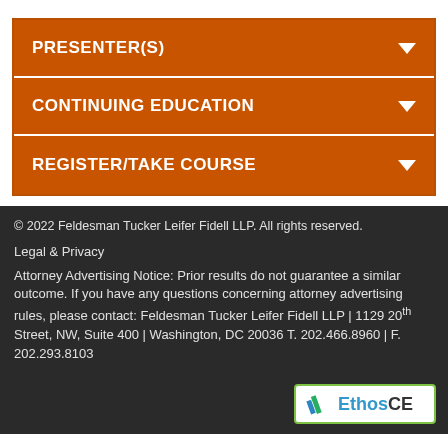PRESENTER(S)
CONTINUING EDUCATION
REGISTER/TAKE COURSE
© 2022 Feldesman Tucker Leifer Fidell LLP. All rights reserved.
Legal & Privacy
Attorney Advertising Notice: Prior results do not guarantee a similar outcome. If you have any questions concerning attorney advertising rules, please contact: Feldesman Tucker Leifer Fidell LLP | 1129 20th Street, NW, Suite 400 | Washington, DC 20036 T. 202.466.8960 | F. 202.293.8103
[Figure (logo): EthosCE logo with green border, blue and green checkmark icon, text EthosCE]